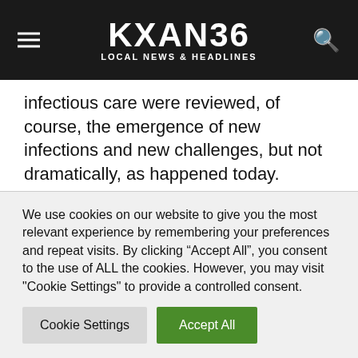KXAN36 LOCAL NEWS & HEADLINES
infectious care were reviewed, of course, the emergence of new infections and new challenges, but not dramatically, as happened today. During an outbreak, kovida, we are faced with a large number of patients in whom the lung is affected, this means that each bed of patient with moderate severity or serious condition should be an eyeliner of oxygen. This is one of the norms that never existed. And we have stipulated that 70 percent of hospital beds in helping this category of patients
We use cookies on our website to give you the most relevant experience by remembering your preferences and repeat visits. By clicking “Accept All”, you consent to the use of ALL the cookies. However, you may visit "Cookie Settings" to provide a controlled consent.